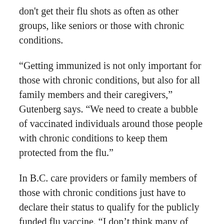don't get their flu shots as often as other groups, like seniors or those with chronic conditions.
“Getting immunized is not only important for those with chronic conditions, but also for all family members and their caregivers,” Gutenberg says. “We need to create a bubble of vaccinated individuals around those people with chronic conditions to keep them protected from the flu.”
In B.C. care providers or family members of those with chronic conditions just have to declare their status to qualify for the publicly funded flu vaccine. “I don’t think many of those people are aware they qualify for a free flu shot,” Gutenberg says.
The BCPhA has also used the flu season campaign as a way of raising awareness about the convenience and accessibility of community pharmacists with elected officials. Members of the BCPhA’s MLA outreach